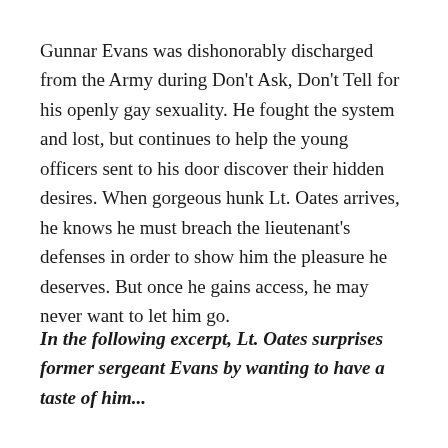Gunnar Evans was dishonorably discharged from the Army during Don't Ask, Don't Tell for his openly gay sexuality. He fought the system and lost, but continues to help the young officers sent to his door discover their hidden desires. When gorgeous hunk Lt. Oates arrives, he knows he must breach the lieutenant's defenses in order to show him the pleasure he deserves. But once he gains access, he may never want to let him go.
In the following excerpt, Lt. Oates surprises former sergeant Evans by wanting to have a taste of him...